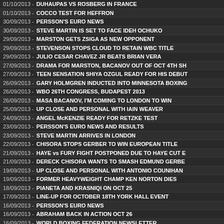01/10/2013 - DUHAUPAS VS ROSBERG IN FRANCE
01/10/2013 - COCCO TEST FOR HEFFRON
30/09/2013 - PERSSON'S EURO NEWS
30/09/2013 - STEVE MARTIN IS SET TO FACE IDEH OCHUKO
29/09/2013 - MARSTON GETS ZSIGA AS NEW OPPONENT
29/09/2013 - STEVENSON STOPS CLOUD TO RETAIN WBC TITLE
29/09/2013 - JULIO CESAR CHAVEZ JR BEATS BRIAN VERA
27/09/2013 - DRAMA FOR MARSTON, BACANOV OUT OF OCT 4TH SH
27/09/2013 - TEEN SENSATION SHIYA OZGUL READY FOR HIS DEBUT
26/09/2013 - GARY HOLMGREN INDUCTED INTO MINNESOTA BOXING
26/09/2013 - WBO 26TH CONGRESS, BUDAPEST 2013
26/09/2013 - MASA BACANOV, I'M COMING TO LONDON TO WIN
25/09/2013 - UP CLOSE AND PERSONAL WITH IAIN WEAVER
24/09/2013 - ANGEL McKENZIE READY FOR RETZKE TEST
23/09/2013 - PERSSON'S EURO NEWS AND RESULTS
23/09/2013 - STEVE MARTIN ARRIVES IN LONDON
22/09/2013 - CHISORA STOPS GERBER TO WIN EUROPEAN TITLE
21/09/2013 - HAYE vs FURY FIGHT POSTPONED DUE TO HAYE CUT E
21/09/2013 - DERECK CHISORA WANTS TO SMASH EDMUND GERBE
19/09/2013 - UP CLOSE AND PERSONAL WITH ANTONIO COUNIHAN
19/09/2013 - FORMER HEAVYWEIGHT CHAMP KEN NORTON DIES
18/09/2013 - PIANETA AND KRASNIQI ON OCT 25
17/09/2013 - LINE-UP FOR OCTOBER 18TH YORK HALL EVENT
16/09/2013 - PERSSON'S EURO NEWS
16/09/2013 - ABRAHAM BACK IN ACTION OCT 26
16/09/2013 - WORLD BOXING FEDERATION NEWSLETTER
16/09/2013 - GARCIA UPSETS MATTHYSSE